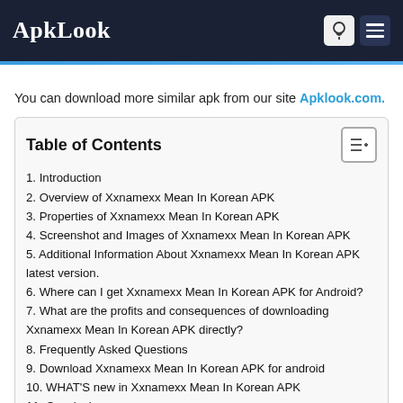ApkLook
You can download more similar apk from our site Apklook.com.
| Table of Contents |
| --- |
| 1. Introduction |
| 2. Overview of Xxnamexx Mean In Korean APK |
| 3. Properties of Xxnamexx Mean In Korean APK |
| 4. Screenshot and Images of Xxnamexx Mean In Korean APK |
| 5. Additional Information About Xxnamexx Mean In Korean APK latest version. |
| 6. Where can I get Xxnamexx Mean In Korean APK for Android? |
| 7. What are the profits and consequences of downloading Xxnamexx Mean In Korean APK directly? |
| 8. Frequently Asked Questions |
| 9. Download Xxnamexx Mean In Korean APK for android |
| 10. WHAT'S new in Xxnamexx Mean In Korean APK |
| 11. Conclusion |